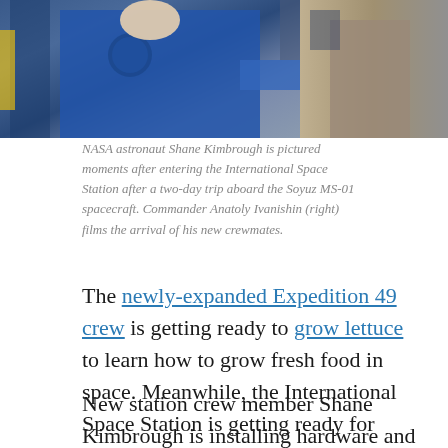[Figure (photo): NASA astronaut Shane Kimbrough in blue flight suit with mission patches inside the International Space Station, with another person visible at right.]
NASA astronaut Shane Kimbrough is pictured moments after entering the International Space Station after a two-day trip aboard the Soyuz MS-01 spacecraft. Commander Anatoly Ivanishin (right) films the arrival of his new crewmates.
The newly-expanded Expedition 49 crew is getting ready to grow lettuce to learn how to grow fresh food in space. Meanwhile, the International Space Station is getting ready for another crew swap.
New station crew member Shane Kimbrough is installing hardware and plant pillows for the Veg-03 plant growth experiment. The study is